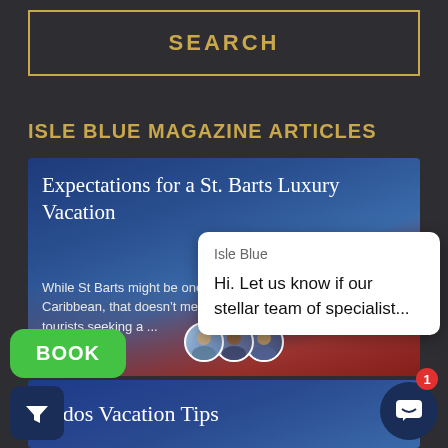SEARCH
ISLE BLUE MAGAZINE ARTICLES
[Figure (screenshot): Article card with tropical beach background showing article titled 'Expectations for a St. Barts Luxury Vacation' with excerpt text about St Barts being one of the Caribbean destinations]
Expectations for a St. Barts Luxury Vacation
While St Barts might be one of the Caribbean, that doesn’t mean it tourists seeking a ...
[Figure (screenshot): Chat popup overlay showing 'Isle Blue' as sender with message 'Hi. Let us know if our stellar team of specialist...']
Isle Blue
Hi. Let us know if our stellar team of specialist...
[Figure (screenshot): Second article card partially visible showing 'bados Vacation Tips' title]
bados Vacation Tips
[Figure (screenshot): BOOK button (green rounded rectangle), filter button (dark navy square with funnel icon), and chat widget button (dark navy circle with smiley icon) with red badge showing 1]